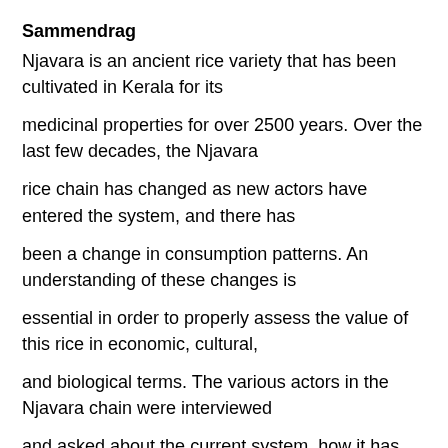Sammendrag
Njavara is an ancient rice variety that has been cultivated in Kerala for its
medicinal properties for over 2500 years. Over the last few decades, the Njavara
rice chain has changed as new actors have entered the system, and there has
been a change in consumption patterns. An understanding of these changes is
essential in order to properly assess the value of this rice in economic, cultural,
and biological terms. The various actors in the Njavara chain were interviewed
and asked about the current system, how it has changed, and why it has
changed from the traditional Njavara system. Rich picturing and analysis of the
interviews using coding was used to answer the questions related